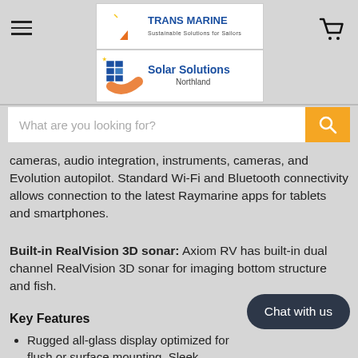[Figure (logo): Trans Marine logo - Sustainable Solutions for Sailors]
[Figure (logo): Solar Solutions Northland logo]
What are you looking for?
cameras, audio integration, instruments, cameras, and Evolution autopilot. Standard Wi-Fi and Bluetooth connectivity allows connection to the latest Raymarine apps for tablets and smartphones.
Built-in RealVision 3D sonar: Axiom RV has built-in dual channel RealVision 3D sonar for imaging bottom structure and fish.
Key Features
Rugged all-glass display optimized for flush or surface mounting. Sleek buttonless design with swing-to-power
[Figure (other): Chat with us button]